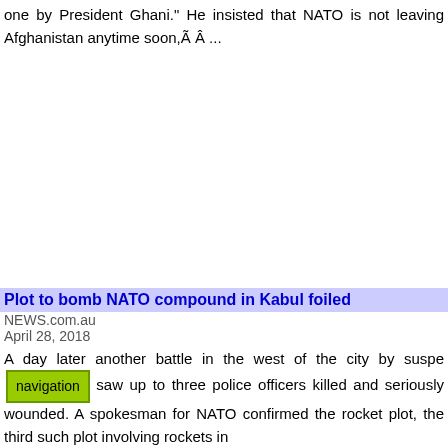one by President Ghani." He insisted that NATO is not leaving Afghanistan anytime soon,Ã Â ...
Plot to bomb NATO compound in Kabul foiled
NEWS.com.au
April 28, 2018
A day later another battle in the west of the city by suspe… saw up to three police officers killed and seriously wounded. A spokesman for NATO confirmed the rocket plot, the third such plot involving rockets in